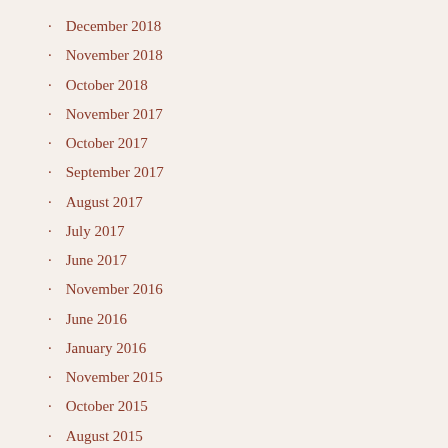December 2018
November 2018
October 2018
November 2017
October 2017
September 2017
August 2017
July 2017
June 2017
November 2016
June 2016
January 2016
November 2015
October 2015
August 2015
July 2015
June 2015
May 2015